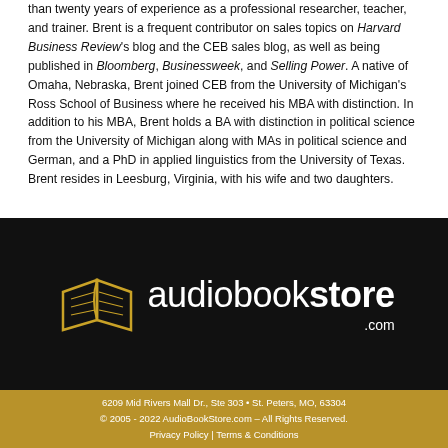than twenty years of experience as a professional researcher, teacher, and trainer. Brent is a frequent contributor on sales topics on Harvard Business Review's blog and the CEB sales blog, as well as being published in Bloomberg, Businessweek, and Selling Power. A native of Omaha, Nebraska, Brent joined CEB from the University of Michigan's Ross School of Business where he received his MBA with distinction. In addition to his MBA, Brent holds a BA with distinction in political science from the University of Michigan along with MAs in political science and German, and a PhD in applied linguistics from the University of Texas. Brent resides in Leesburg, Virginia, with his wife and two daughters.
[Figure (logo): AudioBookStore.com logo with golden open book icon on the left, white text 'audiobook' (regular weight) followed by 'store' (bold) and '.com' beneath on black background]
6209 Mid Rivers Mall Dr., Ste 303 • St. Peters, MO, 63304
© 2005 - 2022 AudioBookStore.com – All Rights Reserved.
Privacy Policy | Terms & Conditions